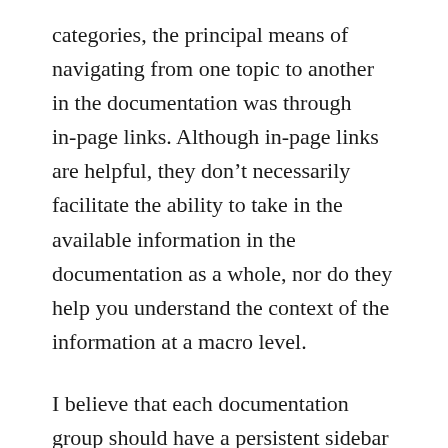categories, the principal means of navigating from one topic to another in the documentation was through in-page links. Although in-page links are helpful, they don't necessarily facilitate the ability to take in the available information in the documentation as a whole, nor do they help you understand the context of the information at a macro level.
I believe that each documentation group should have a persistent sidebar that allows users to navigate all topics within that documentation group. But by “documentation group,” I don’t mean a massive, all-